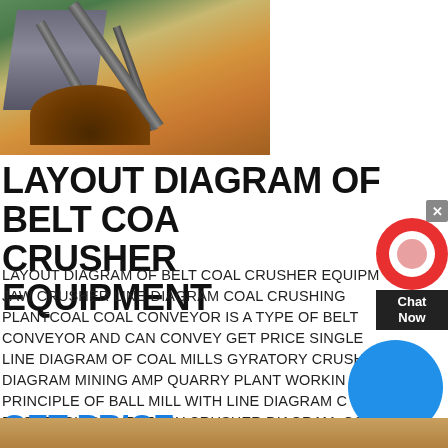[Figure (photo): Outdoor photograph of belt coal crusher / mining equipment with conveyor structures and a pile of dirt/coal on sandy ground with trees in background]
LAYOUT DIAGRAM OF BELT COAL CRUSHER EQUIPMENT
LAYOUT DIAGRAM OF BELT COAL CRUSHER EQUIPMENT JAW CRUSHER LINE DIAGRAM COAL CRUSHING PLANTCOAL COAL CONVEYOR IS A TYPE OF BELT CONVEYOR AND CAN CONVEY GET PRICE SINGLE LINE DIAGRAM OF COAL MILLS GYRATORY CRUSHER DIAGRAM MINING AMP QUARRY PLANT WORKING PRINCIPLE OF BALL MILL WITH LINE DIAGRAM COAL PROCESSING GYRATORY CRUSHER DIAGRAM. COAL HANDLING PLANT IN A THERMAL POWER GENERATING STATION
GET PRICE